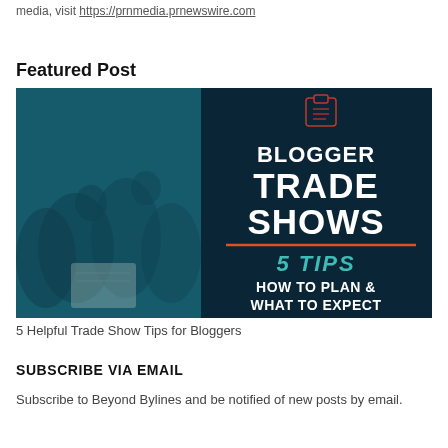media, visit https://prnmedia.prnewswire.com
Featured Post
[Figure (infographic): Infographic image with dark teal background showing audience in background on left side, and bold white text: BLOGGER TRADE SHOWS 5 TIPS HOW TO PLAN & WHAT TO EXPECT with an orange/red divider line and teal italic text '5 TIPS', and a clipboard icon at the top.]
5 Helpful Trade Show Tips for Bloggers
SUBSCRIBE VIA EMAIL
Subscribe to Beyond Bylines and be notified of new posts by email.